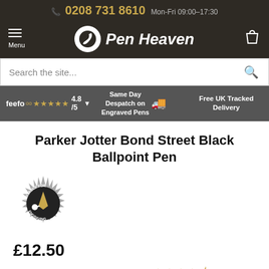0208 731 8610 Mon-Fri 09:00-17:30
[Figure (logo): Pen Heaven logo with pen icon and text]
Search the site...
feefo 4.8/5 ★★★★★ | Same Day Despatch on Engraved Pens | Free UK Tracked Delivery
Parker Jotter Bond Street Black Ballpoint Pen
[Figure (illustration): Suitable for Engraving badge - circular badge with engraving imagery]
£12.50
More than 10 in stock.
(45) feefo